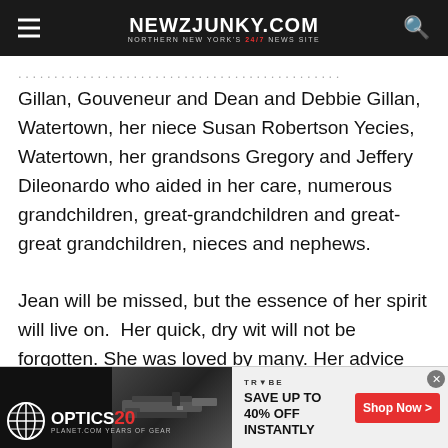NEWZJUNKY.COM — Northern New York's 24/7 News Site
Gillan, Gouveneur and Dean and Debbie Gillan, Watertown, her niece Susan Robertson Yecies, Watertown, her grandsons Gregory and Jeffery Dileonardo who aided in her care, numerous grandchildren, great-grandchildren and great-great grandchildren, nieces and nephews.

Jean will be missed, but the essence of her spirit will live on.  Her quick, dry wit will not be forgotten. She was loved by many. Her advice and counsel was sought out by friends and co-
[Figure (screenshot): Advertisement banner for Optics Planet 20 Years with rifle image on left and Trybe gear savings offer on right with Shop Now button]